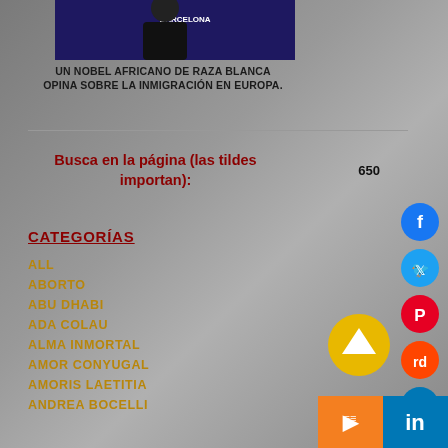[Figure (photo): Photo of a person in front of a banner with text 'Barcelona']
UN NOBEL AFRICANO DE RAZA BLANCA OPINA SOBRE LA INMIGRACIÓN EN EUROPA.
Busca en la página (las tildes importan):
650
CATEGORÍAS
All
ABORTO
ABU DHABI
ADA COLAU
ALMA INMORTAL
AMOR CONYUGAL
AMORIS LAETITIA
ANDREA BOCELLI
[Figure (other): Social media icons: Facebook, Twitter, Pinterest, Reddit, LinkedIn, up-arrow button, SoundCloud, LinkedIn]